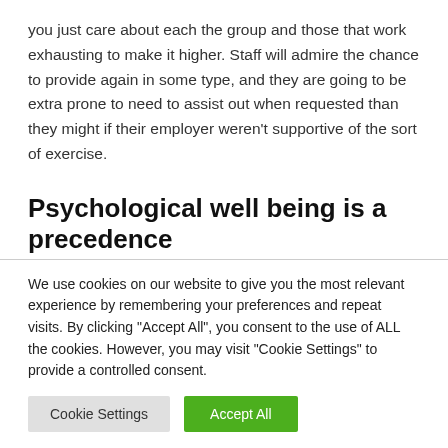you just care about each the group and those that work exhausting to make it higher. Staff will admire the chance to provide again in some type, and they are going to be extra prone to need to assist out when requested than they might if their employer weren't supportive of the sort of exercise.
Psychological well being is a precedence
Irrespective of how large or small your corporation is
We use cookies on our website to give you the most relevant experience by remembering your preferences and repeat visits. By clicking "Accept All", you consent to the use of ALL the cookies. However, you may visit "Cookie Settings" to provide a controlled consent.